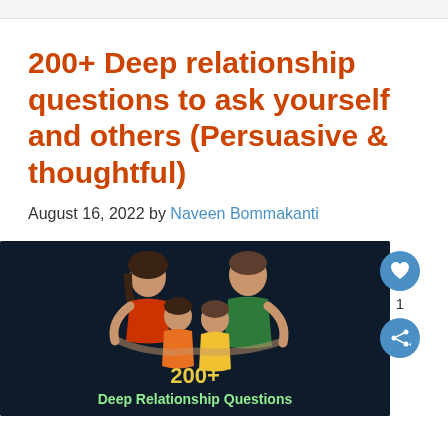200+ Deep relationship questions to ask yourself and others (Persuasive & thoughtful)
August 16, 2022 by Naveen Bommakanti
[Figure (illustration): Dark background illustration of a family of four (two adults and two children embracing), with text '200+' and 'Deep Relationship Questions' in yellow/green at the bottom of the image.]